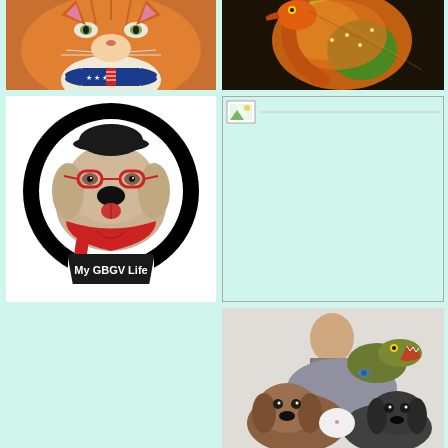[Figure (photo): Close-up of an orange tabby cat wearing a patriotic red-white-and-blue bow tie with stars and stripes pattern]
[Figure (photo): Colorful painted or sculpted flamingo in orange, yellow and green tones against a dark background]
[Figure (illustration): Logo for 'My GBGV Life' showing a cartoon dog wearing a black beret and red glasses with a red scarf, inside a black circle on a white background]
[Figure (photo): Small broken image icon placeholder in top-left of the right middle cell]
[Figure (photo): Humorous photo of dogs and a small dinosaur figure stacked on top of each other, with a bald person visible in the background]